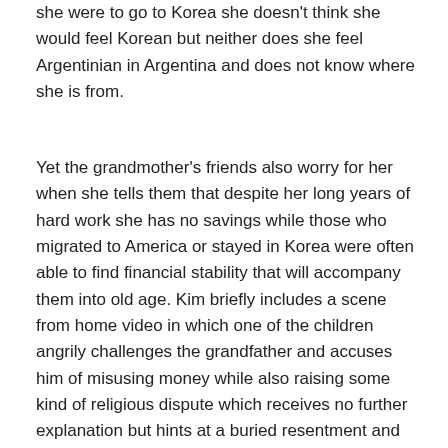she were to go to Korea she doesn't think she would feel Korean but neither does she feel Argentinian in Argentina and does not know where she is from.
Yet the grandmother's friends also worry for her when she tells them that despite her long years of hard work she has no savings while those who migrated to America or stayed in Korea were often able to find financial stability that will accompany them into old age. Kim briefly includes a scene from home video in which one of the children angrily challenges the grandfather and accuses him of misusing money while also raising some kind of religious dispute which receives no further explanation but hints at a buried resentment and discord within the family which is otherwise absent from the cheerful footage of them celebrating a wedding and coming together with other members of the Korean community. Meanwhile the government is said to have taken back half of their land when the farm experienced financial difficulty and that it was the inability to finish what his father had started that later drove the son to drink. Even so another of the women hurriedly finishes